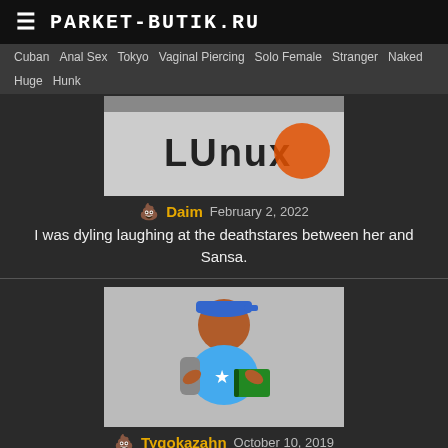PARKET-BUTIK.RU
Cuban  Anal Sex  Tokyo  Vaginal Piercing  Solo Female  Stranger  Naked  Huge  Hunk
[Figure (photo): Linux logo image (partial, cropped at top)]
🪣 Daim  February 2, 2022
I was dyling laughing at the deathstares between her and Sansa.
[Figure (illustration): Cartoon student icon with blue cap and backpack holding a book]
🪣 Tygokazahn  October 10, 2019
I want a lady who guzzles like that
[Figure (photo): Photo of a man with dark hair (partially visible, cropped at bottom)]